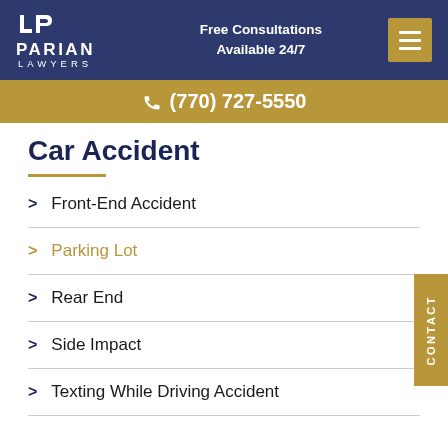[Figure (logo): Parian Lawyers logo — white text on dark navy background with LP monogram icon]
Free Consultations Available 24/7
(770) 727-5550
Car Accident
Front-End Accident
Parking Lot
Rear End
Side Impact
Texting While Driving Accident
CONTACT